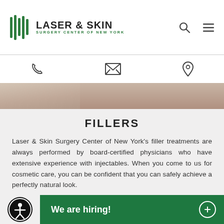[Figure (logo): Laser & Skin Surgery Center of New York logo with green striped icon and text]
LASER & SKIN SURGERY CENTER OF NEW YORK
[Figure (screenshot): Navigation bar with phone, email, and location icons]
[Figure (photo): Partial image strip showing a person, cropped]
FILLERS
Laser & Skin Surgery Center of New York’s filler treatments are always performed by board-certified physicians who have extensive experience with injectables. When you come to us for cosmetic care, you can be confident that you can safely achieve a perfectly natural look.
[Figure (other): Accessibility icon button (person in circle)]
We are hiring!